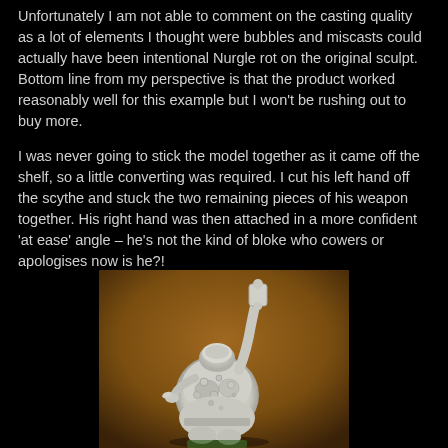Unfortunately I am not able to comment on the casting quality as a lot of elements I thought were bubbles and miscasts could actually have been intentional Nurgle rot on the original sculpt. Bottom line from my perspective is that the product worked reasonably well for this example but I won't be rushing out to buy more.
I was never going to stick the model together as it came off the shelf, so a little converting was required. I cut his left hand off the scythe and stuck the two remaining pieces of his weapon together. His right hand was then attached in a more confident 'at ease' angle – he's not the kind of bloke who cowers or apologises now is he?!
[Figure (photo): A white unpainted miniature figure (Nurgle character) posed against a brown background, showing a rotund armored figure holding a weapon raised above, with numerous decorative Nurgle rot details on the armor.]